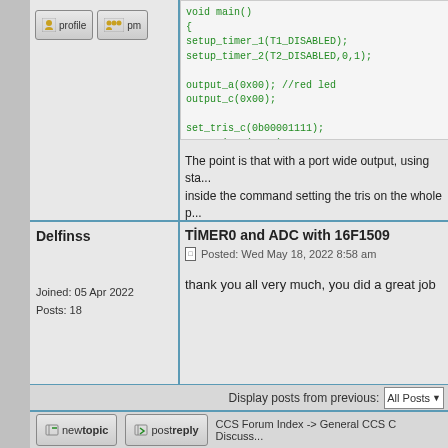[Figure (screenshot): Profile and PM button icons at top left]
void main()
{
setup_timer_1(T1_DISABLED);
setup_timer_2(T2_DISABLED,0,1);

output_a(0x00); //red led
output_c(0x00);

set_tris_c(0b00001111);
set_tris_a(0x00);
The point is that with a port wide output, using sta... inside the command setting the tris on the whole p... So set the TRIS after this, not before.
Delfinss
TİMER0 and ADC with 16F1509
Posted: Wed May 18, 2022 8:58 am
Joined: 05 Apr 2022
Posts: 18
thank you all very much, you did a great job
Display posts from previous:  All Posts
newtopic    postreply    CCS Forum Index -> General CCS C Discuss...